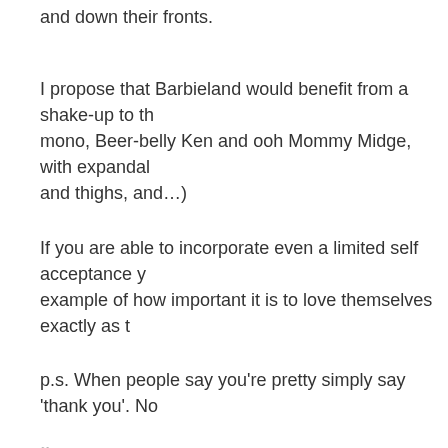and down their fronts.
I propose that Barbieland would benefit from a shake-up to th mono, Beer-belly Ken and ooh Mommy Midge, with expandabl and thighs, and…)
If you are able to incorporate even a limited self acceptance y example of how important it is to love themselves exactly as t
p.s. When people say you're pretty simply say 'thank you'. No
∞
Stephanie
Wednesday, April 23, 2008, 8:31 am